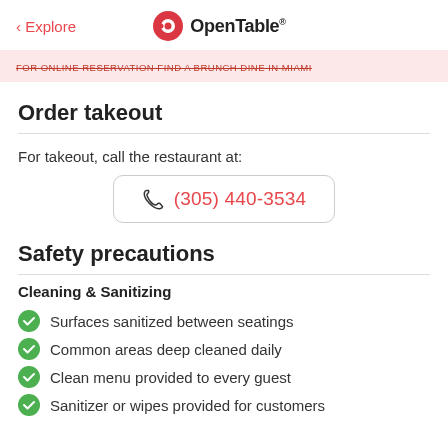< Explore  OpenTable®
FOR ONLINE RESERVATION FIND A BRUNCH DINE IN MIAMI
Order takeout
For takeout, call the restaurant at:
(305) 440-3534
Safety precautions
Cleaning & Sanitizing
Surfaces sanitized between seatings
Common areas deep cleaned daily
Clean menu provided to every guest
Sanitizer or wipes provided for customers